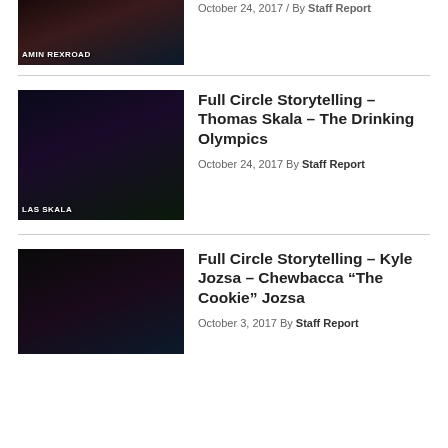[Figure (photo): Partial photo of performer (Amin Rexroad) on stage in dark lighting with text overlay 'AMIN REXROAD']
October 24, 2017 / By Staff Report
[Figure (photo): Photo of Thomas Skala performing on stage in dark lighting with text overlay 'LAS SKALA']
Full Circle Storytelling – Thomas Skala – The Drinking Olympics
October 24, 2017 By Staff Report
[Figure (photo): Photo of Kyle Jozsa performing on stage in dark lighting]
Full Circle Storytelling – Kyle Jozsa – Chewbacca “The Cookie” Jozsa
October 3, 2017 By Staff Report